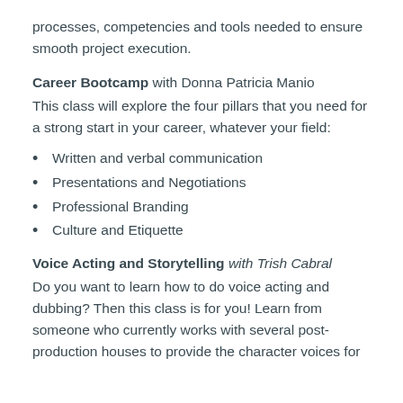processes, competencies and tools needed to ensure smooth project execution.
Career Bootcamp with Donna Patricia Manio
This class will explore the four pillars that you need for a strong start in your career, whatever your field:
Written and verbal communication
Presentations and Negotiations
Professional Branding
Culture and Etiquette
Voice Acting and Storytelling with Trish Cabral
Do you want to learn how to do voice acting and dubbing? Then this class is for you!  Learn from someone who currently works with several post-production houses to provide the character voices for